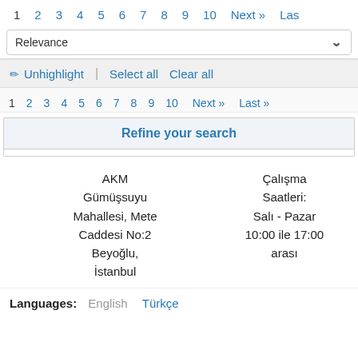1 2 3 4 5 6 7 8 9 10 Next » Las
Relevance
✏ Unhighlight | Select all  Clear all
1 2 3 4 5 6 7 8 9 10 Next » Last »
Refine your search
AKM Gümüşsuyu Mahallesi, Mete Caddesi No:2 Beyoğlu, İstanbul
Çalışma Saatleri: Salı - Pazar 10:00 ile 17:00 arası
Languages: English Türkçe